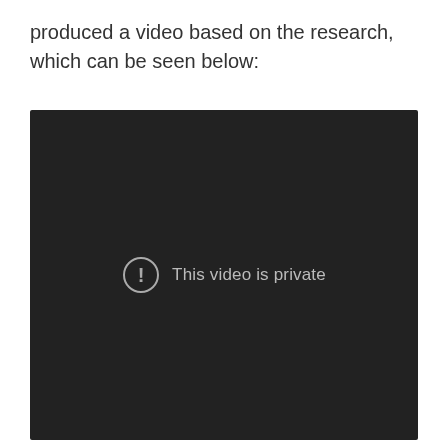produced a video based on the research, which can be seen below:
[Figure (screenshot): Embedded video player showing a dark background with a circular exclamation mark icon and the text 'This video is private' in gray.]